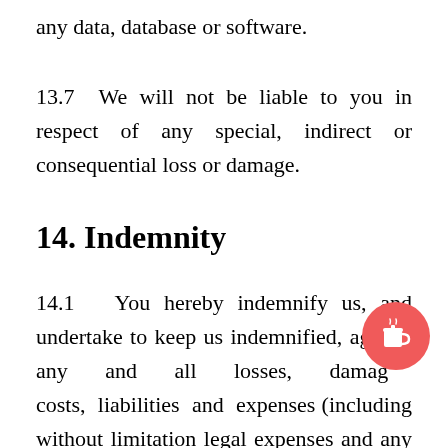any data, database or software.
13.7  We will not be liable to you in respect of any special, indirect or consequential loss or damage.
14. Indemnity
14.1   You hereby indemnify us, and undertake to keep us indemnified, against any and all losses, damages, costs, liabilities and expenses (including without limitation legal expenses and any amounts paid by us